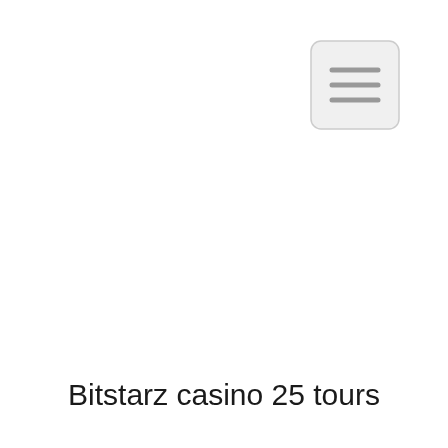[Figure (other): Hamburger menu icon button — a rounded rectangle with three horizontal lines (≡) in gray, positioned in the upper-right area of the page]
Bitstarz casino 25 tours